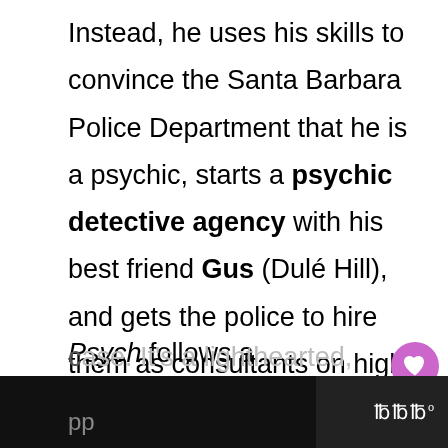Instead, he uses his skills to convince the Santa Barbara Police Department that he is a psychic, starts a psychic detective agency with his best friend Gus (Dulé Hill), and gets the police to hire them as consultants on high-profile cases.
Psych follows a traditional cop-show structure, with each episode being largely self-contained and focused on a particular case. It's a lighthearted, witty show, with...